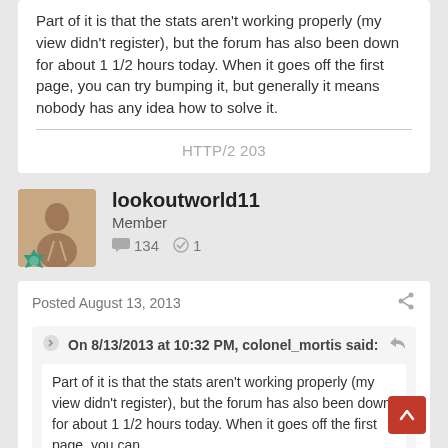Part of it is that the stats aren't working properly (my view didn't register), but the forum has also been down for about 1 1/2 hours today. When it goes off the first page, you can try bumping it, but generally it means nobody has any idea how to solve it.
HTTP/2 203
lookoutworld11
Member
134   1
Posted August 13, 2013
On 8/13/2013 at 10:32 PM, colonel_mortis said:
Part of it is that the stats aren't working properly (my view didn't register), but the forum has also been down for about 1 1/2 hours today. When it goes off the first page, you can